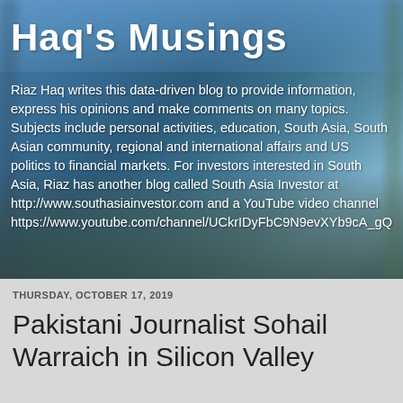Haq's Musings
Riaz Haq writes this data-driven blog to provide information, express his opinions and make comments on many topics. Subjects include personal activities, education, South Asia, South Asian community, regional and international affairs and US politics to financial markets. For investors interested in South Asia, Riaz has another blog called South Asia Investor at http://www.southasiainvestor.com and a YouTube video channel https://www.youtube.com/channel/UCkrIDyFbC9N9evXYb9cA_gQ
THURSDAY, OCTOBER 17, 2019
Pakistani Journalist Sohail Warraich in Silicon Valley